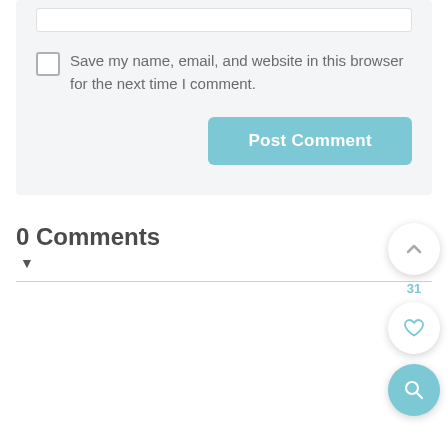[Figure (screenshot): White input text field (partially visible at top)]
Save my name, email, and website in this browser for the next time I comment.
Post Comment
0 Comments
▼
31